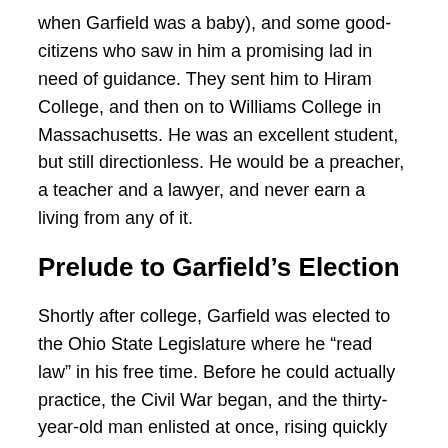when Garfield was a baby), and some good-citizens who saw in him a promising lad in need of guidance. They sent him to Hiram College, and then on to Williams College in Massachusetts. He was an excellent student, but still directionless. He would be a preacher, a teacher and a lawyer, and never earn a living from any of it.
Prelude to Garfield’s Election
Shortly after college, Garfield was elected to the Ohio State Legislature where he “read law” in his free time. Before he could actually practice, the Civil War began, and the thirty-year-old man enlisted at once, rising quickly through genuine ability, genuine affability and seriously genuine good luck. He became the youngest Major General in the Union Army.
Elected to Congress in absentia, Garfield declined, believing it his duty to stay with his troops. Lincoln thought otherwise